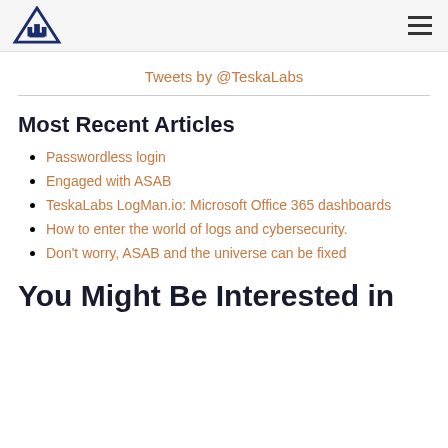TeskaLabs
Tweets by @TeskaLabs
Most Recent Articles
Passwordless login
Engaged with ASAB
TeskaLabs LogMan.io: Microsoft Office 365 dashboards
How to enter the world of logs and cybersecurity.
Don't worry, ASAB and the universe can be fixed
You Might Be Interested in